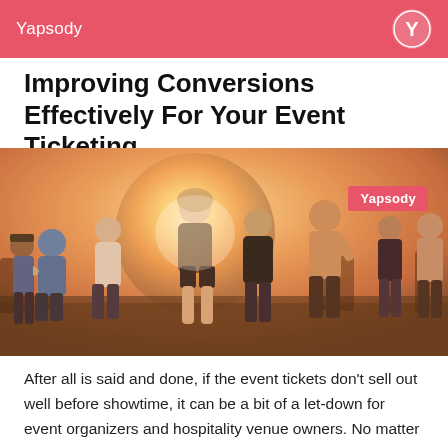Yapsody
Improving Conversions Effectively For Your Event Ticketing
[Figure (photo): Festival crowd of young people dancing and walking outdoors at sunset, with a 'Yapsody' badge overlay in the upper right of the image.]
After all is said and done, if the event tickets don't sell out well before showtime, it can be a bit of a let-down for event organizers and hospitality venue owners. No matter how